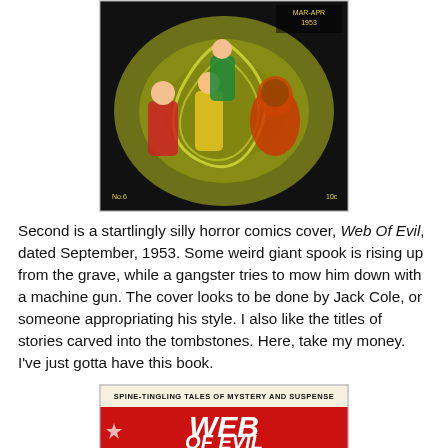[Figure (illustration): Cover of a vintage horror/sci-fi comic showing colorful superhero-like figures being sucked into a vortex with an alien or monstrous figure. Dated MAR-APR 1953. Shows No. 6 and price 10c.]
Second is a startlingly silly horror comics cover, Web Of Evil, dated September, 1953. Some weird giant spook is rising up from the grave, while a gangster tries to mow him down with a machine gun. The cover looks to be done by Jack Cole, or someone appropriating his style. I also like the titles of stories carved into the tombstones. Here, take my money. I've just gotta have this book.
[Figure (illustration): Cover of Web of Evil comic book. Red banner with 'WEB OF EVIL' text in large letters. Header reads 'SPINE-TINGLING TALES OF MYSTERY AND SUSPENSE'. September No. 6, 10c. Bottom shows partial image with 'ORGY OF' text visible.]